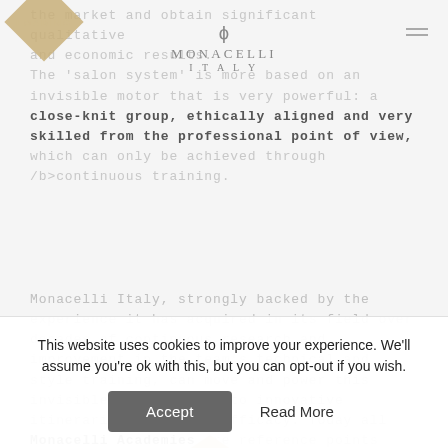[Figure (logo): Monacelli Italy logo with phi symbol above brand name]
the market and obtain significant qualitative and economic results. The 'salon system' is more based on an invisible motor that is very powerful: a close-knit group, ethically aligned and very skilled from the professional point of view, which can only be achieved through /b>continuous training.
Monacelli Italy, strongly backed by the experience it has acquired in its field over decades of continuous research and improvement in the team's technical and style training, can move and power this invisible motor thanks to innovative itineraries of proven efficacy. Today all Monacelli Academies are reference points for Italian and foreign professionals, a
[Figure (infographic): Diamond-shaped loading overlay with 'LOADING' text in gold color]
This website uses cookies to improve your experience. We'll assume you're ok with this, but you can opt-out if you wish.
Accept   Read More